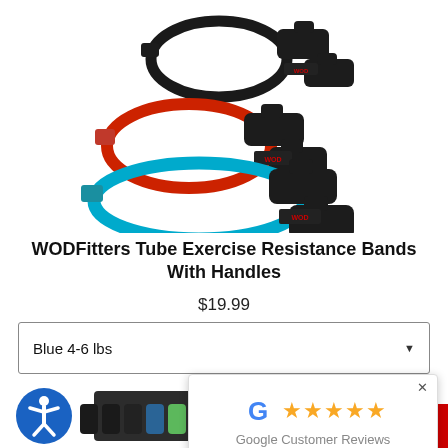[Figure (photo): Three WODFitters tube exercise resistance bands with handles — black band on top, red/orange band in middle, blue band at bottom, each with black foam handles]
WODFitters Tube Exercise Resistance Bands With Handles
$19.99
Blue 4-6 lbs
[Figure (screenshot): Google Customer Reviews popup with Google G logo, five gold stars, and text 'Google Customer Reviews']
[Figure (photo): Bottom partial area showing dark mat, colorful resistance band handles strip, WOD logo, Cart (0) button, and accessibility icon]